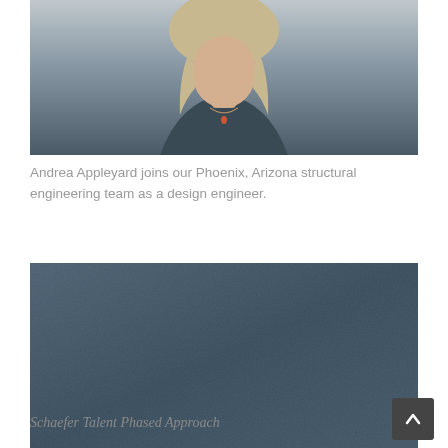[Figure (photo): Portrait photo of Andrea Appleyard, a woman with blonde straight hair wearing a dark top with a pendant necklace, against a grey/blue background]
Andrea Appleyard joins our Phoenix, Arizona structural engineering team as a design engineer.
[Figure (photo): Partially visible second photo with a slate blue/grey textured background, with text starting at the bottom reading 'Schaefer Talent Phased Approach']
Schaefer Talent Phased Approach